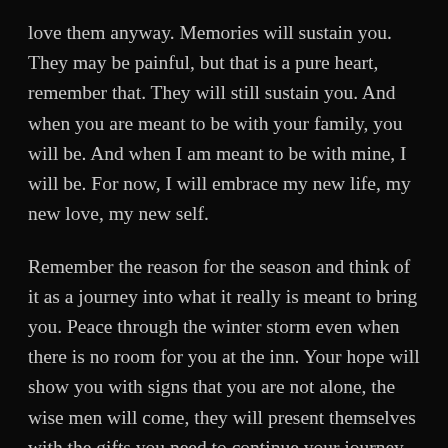love them anyway. Memories will sustain you. They may be painful, but that is a pure heart, remember that. They will still sustain you. And when you are meant to be with your family, you will be. And when I am meant to be with mine, I will be. For now, I will embrace my new life, my new love, my new self.
Remember the reason for the season and think of it as a journey into what it really is meant to bring you. Peace through the winter storm even when there is no room for you at the inn. Your hope will show you with signs that you are not alone, the wise men will come, they will present themselves with the gifts you need to continue your journey.
I am thankful for you, reader and for the new day to